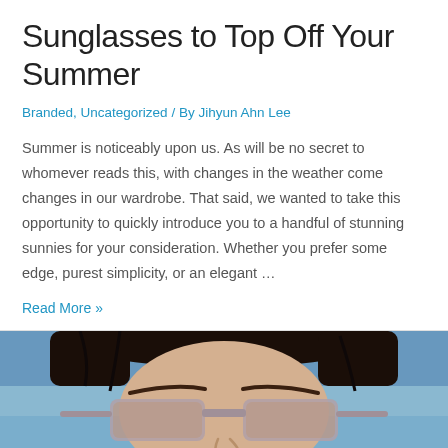Sunglasses to Top Off Your Summer
Branded, Uncategorized / By Jihyun Ahn Lee
Summer is noticeably upon us. As will be no secret to whomever reads this, with changes in the weather come changes in our wardrobe. That said, we wanted to take this opportunity to quickly introduce you to a handful of stunning sunnies for your consideration. Whether you prefer some edge, purest simplicity, or an elegant …
Read More »
[Figure (photo): Person wearing stylish sunglasses, cropped photo showing face from nose up, blue sky background]